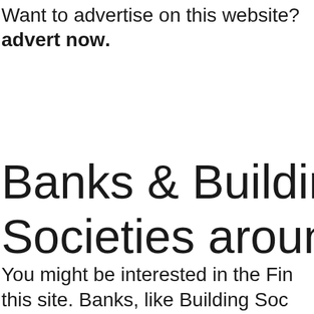Want to advertise on this website? Place your advert now.
Banks & Building Societies around Ba...
You might be interested in the Fi... this site. Banks, like Building Soc... a restricted range of services...